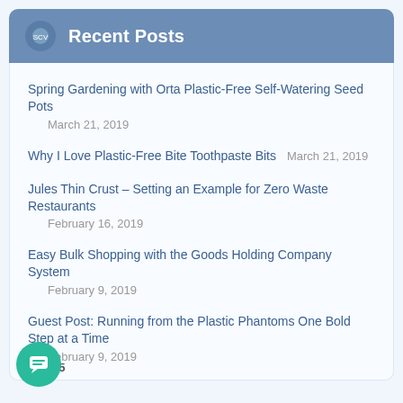Recent Posts
Spring Gardening with Orta Plastic-Free Self-Watering Seed Pots
March 21, 2019
Why I Love Plastic-Free Bite Toothpaste Bits  March 21, 2019
Jules Thin Crust – Setting an Example for Zero Waste Restaurants
February 16, 2019
Easy Bulk Shopping with the Goods Holding Company System
February 9, 2019
Guest Post: Running from the Plastic Phantoms One Bold Step at a Time  February 9, 2019
15